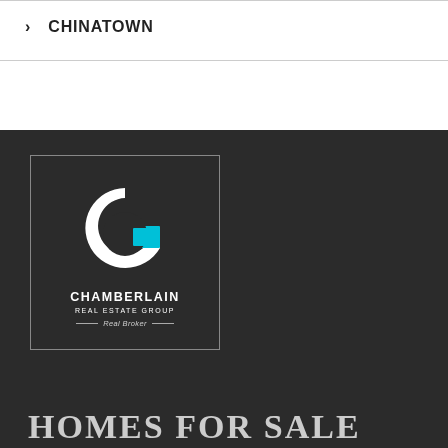› CHINATOWN
[Figure (logo): Chamberlain Real Estate Group logo — stylized white G with cyan accent inside a bordered dark square, with text CHAMBERLAIN REAL ESTATE GROUP and Real Broker beneath]
HOMES FOR SALE